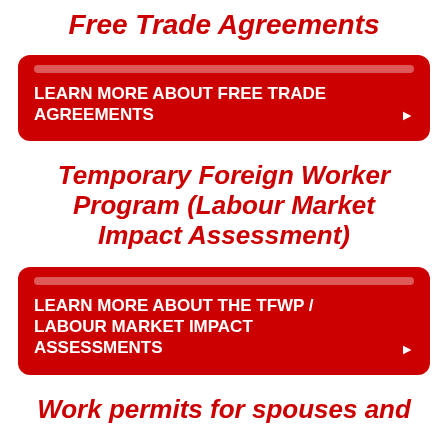Free Trade Agreements
LEARN MORE ABOUT FREE TRADE AGREEMENTS
Temporary Foreign Worker Program (Labour Market Impact Assessment)
LEARN MORE ABOUT THE TFWP / LABOUR MARKET IMPACT ASSESSMENTS
Work permits for spouses and